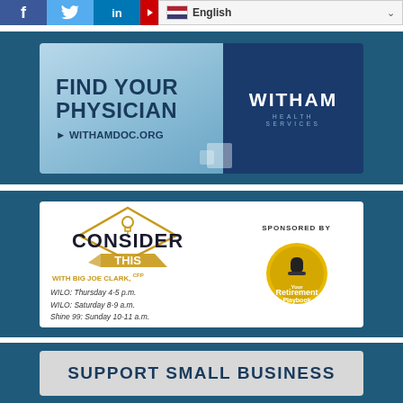[Figure (screenshot): Top navigation bar with social media icons (Facebook, Twitter, LinkedIn, YouTube) and an English language selector dropdown]
[Figure (illustration): Witham Health Services advertisement: 'Find Your Physician - WithamDoc.org' with Witham Health Services logo on dark blue background]
[Figure (illustration): Consider This with Big Joe Clark, CFP radio show advertisement. WILO: Thursday 4-5 p.m., WILO: Saturday 8-9 a.m., Shine 99: Sunday 10-11 a.m. Sponsored by Your Retirement Playbook]
[Figure (illustration): Support Small Business advertisement (partially visible at bottom of page)]